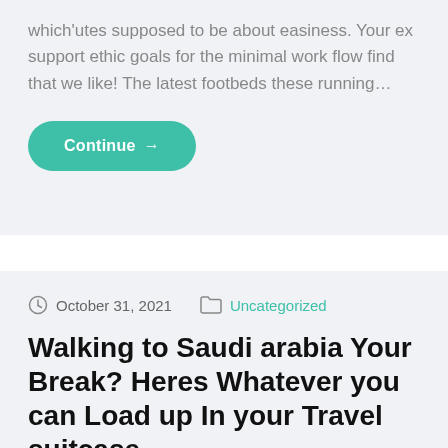which'utes supposed to be about easiness. Your ex support ethic goals for the minimal work flow find that we like! The latest footbeds these running…
Continue →
October 31, 2021   Uncategorized
Walking to Saudi arabia Your Break? Heres Whatever you can Load up In your Travel suitcase